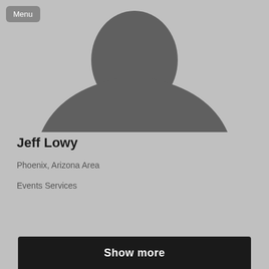[Figure (illustration): Generic placeholder silhouette of a person (head and shoulders) on a gray background]
Jeff Lowy
Phoenix, Arizona Area
Events Services
Show more